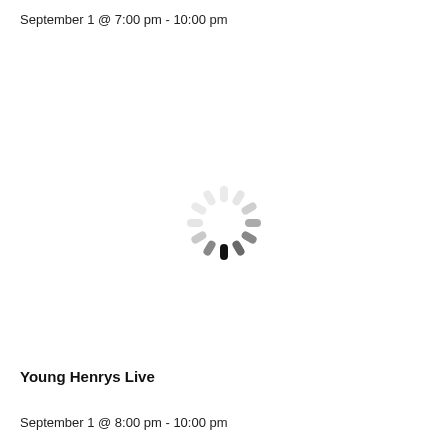September 1 @ 7:00 pm - 10:00 pm
[Figure (other): A spinning loading indicator (spinner) shown as a circle of radial dashes, with the rightmost dash being the darkest/most opaque, creating a blur effect indicating loading animation.]
Young Henrys Live
September 1 @ 8:00 pm - 10:00 pm